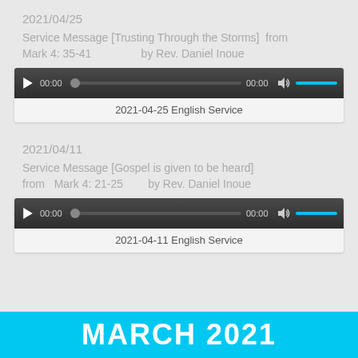2021/04/25
Service Message [Trusting Through the Storms]  from Mark 4: 35-41                by Rev. Daniel Inoue
[Figure (other): Audio player widget showing 00:00 time and volume bar]
2021-04-25 English Service
2021/04/11
Service Message [Gospel is given to be heard] from   Mark 4: 21-25          by Rev. Daniel Inoue
[Figure (other): Audio player widget showing 00:00 time and volume bar]
2021-04-11 English Service
MARCH 2021